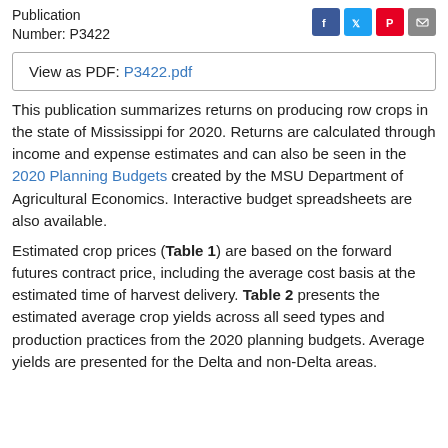Publication Number: P3422
View as PDF: P3422.pdf
This publication summarizes returns on producing row crops in the state of Mississippi for 2020. Returns are calculated through income and expense estimates and can also be seen in the 2020 Planning Budgets created by the MSU Department of Agricultural Economics. Interactive budget spreadsheets are also available.
Estimated crop prices (Table 1) are based on the forward futures contract price, including the average cost basis at the estimated time of harvest delivery. Table 2 presents the estimated average crop yields across all seed types and production practices from the 2020 planning budgets. Average yields are presented for the Delta and non-Delta areas.